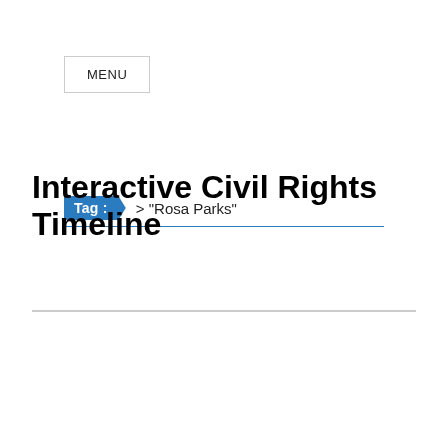MENU
Tag : > "Rosa Parks"
Interactive Civil Rights Timeline